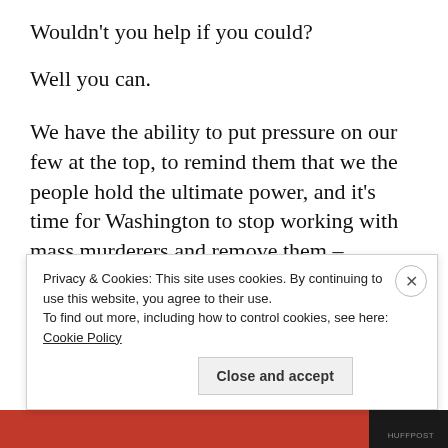Wouldn't you help if you could?
Well you can.
We have the ability to put pressure on our few at the top, to remind them that we the people hold the ultimate power, and it's time for Washington to stop working with mass murderers and remove them – politically. War and bloodshed have never been the answer.
But millions of Americans standing together, sending
Privacy & Cookies: This site uses cookies. By continuing to use this website, you agree to their use.
To find out more, including how to control cookies, see here: Cookie Policy
Close and accept